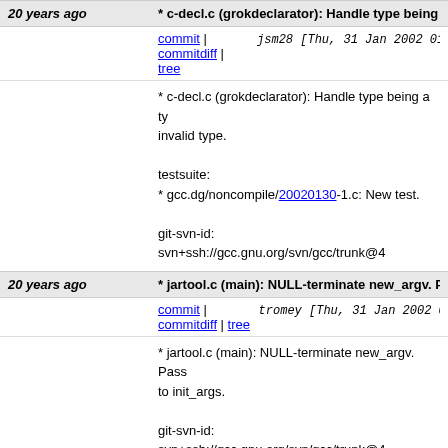20 years ago | * c-decl.c (grokdeclarator): Handle type being a...
commit | commitdiff | tree
jsm28 [Thu, 31 Jan 2002 01:01:02 +0000 (
* c-decl.c (grokdeclarator): Handle type being a ty... invalid type.

testsuite:
* gcc.dg/noncompile/20020130-1.c: New test.

git-svn-id: svn+ssh://gcc.gnu.org/svn/gcc/trunk@4
20 years ago | * jartool.c (main): NULL-terminate new_argv. Pa...
commit | commitdiff | tree
tromey [Thu, 31 Jan 2002 00:52:16 +0000
* jartool.c (main): NULL-terminate new_argv.  Pass... to init_args.

git-svn-id: svn+ssh://gcc.gnu.org/svn/gcc/trunk@4
20 years ago | * config/locale/c_locale_generic.cc: Check errn...
commit | commitdiff | tree
ljrittle [Thu, 31 Jan 2002 00:47:05 +000
* config/locale/c_locale_generic.cc: Check errno fo... instead of non-zero to aid portability.

git-svn-id: svn+ssh://gcc.gnu.org/svn/gcc/trunk@4